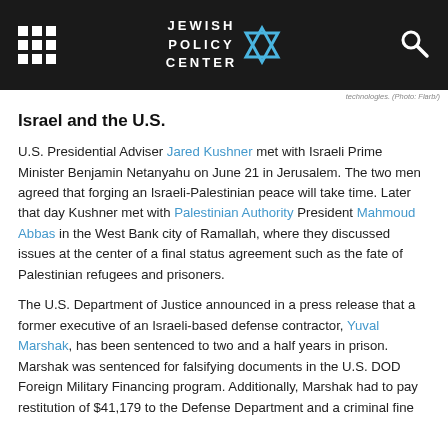JEWISH POLICY CENTER
technologies. (Photo: Flarb/)
Israel and the U.S.
U.S. Presidential Adviser Jared Kushner met with Israeli Prime Minister Benjamin Netanyahu on June 21 in Jerusalem. The two men agreed that forging an Israeli-Palestinian peace will take time. Later that day Kushner met with Palestinian Authority President Mahmoud Abbas in the West Bank city of Ramallah, where they discussed issues at the center of a final status agreement such as the fate of Palestinian refugees and prisoners.
The U.S. Department of Justice announced in a press release that a former executive of an Israeli-based defense contractor, Yuval Marshak, has been sentenced to two and a half years in prison. Marshak was sentenced for falsifying documents in the U.S. DOD Foreign Military Financing program. Additionally, Marshak had to pay restitution of $41,179 to the Defense Department and a criminal fine